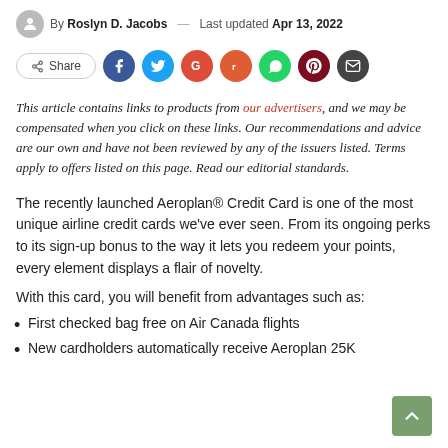By Roslyn D. Jacobs — Last updated Apr 13, 2022
[Figure (infographic): Social share bar with Share button and icons for Facebook, Twitter, Google+, Reddit, WhatsApp, Pinterest, and Email]
This article contains links to products from our advertisers, and we may be compensated when you click on these links. Our recommendations and advice are our own and have not been reviewed by any of the issuers listed. Terms apply to offers listed on this page. Read our editorial standards.
The recently launched Aeroplan® Credit Card is one of the most unique airline credit cards we've ever seen. From its ongoing perks to its sign-up bonus to the way it lets you redeem your points, every element displays a flair of novelty.
With this card, you will benefit from advantages such as:
First checked bag free on Air Canada flights
New cardholders automatically receive Aeroplan 25K